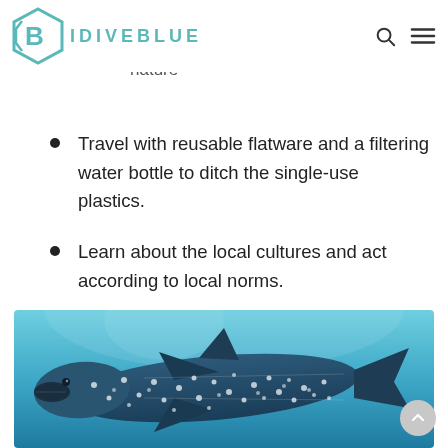IDIVEBLUE
nature
Travel with reusable flatware and a filtering water bottle to ditch the single-use plastics.
Learn about the local cultures and act according to local norms.
[Figure (photo): Underwater photo of a whale shark swimming in clear blue water, viewed from above and slightly to the side, showing its distinctive spotted pattern.]